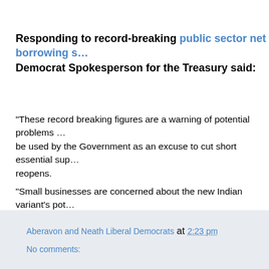Responding to record-breaking public sector net borrowing s… Democrat Spokesperson for the Treasury said:
"These record breaking figures are a warning of potential problems … be used by the Government as an excuse to cut short essential sup… reopens.
"Small businesses are concerned about the new Indian variant's pot… steps of re-opening. This must be taken into account in the next sta…
"The Government must extend the furlough scheme at least until the… unroll an ambitious revenue compensation scheme for small busine… struggling.
"We now know the stark reality of the impact of the past year but the… threat to small businesses across the country and the Government's…
Aberavon and Neath Liberal Democrats at 2:23 pm
No comments: